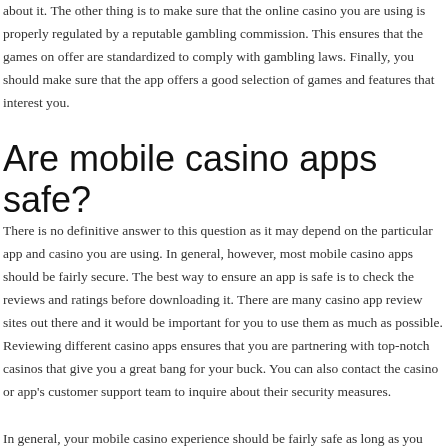about it. The other thing is to make sure that the online casino you are using is properly regulated by a reputable gambling commission. This ensures that the games on offer are standardized to comply with gambling laws. Finally, you should make sure that the app offers a good selection of games and features that interest you.
Are mobile casino apps safe?
There is no definitive answer to this question as it may depend on the particular app and casino you are using. In general, however, most mobile casino apps should be fairly secure. The best way to ensure an app is safe is to check the reviews and ratings before downloading it. There are many casino app review sites out there and it would be important for you to use them as much as possible. Reviewing different casino apps ensures that you are partnering with top-notch casinos that give you a great bang for your buck. You can also contact the casino or app's customer support team to inquire about their security measures.
In general, your mobile casino experience should be fairly safe as long as you take